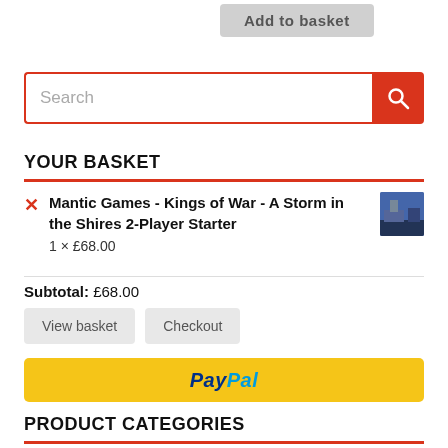[Figure (screenshot): Add to basket button at top of page]
[Figure (screenshot): Search bar with red search button]
YOUR BASKET
Mantic Games - Kings of War - A Storm in the Shires 2-Player Starter
1 × £68.00
Subtotal: £68.00
[Figure (screenshot): View basket and Checkout buttons]
[Figure (screenshot): PayPal checkout button]
PRODUCT CATEGORIES